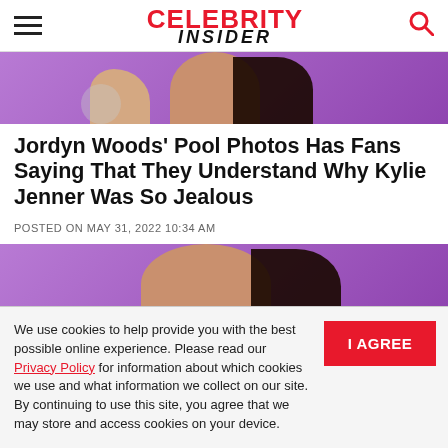CELEBRITY INSIDER
[Figure (photo): Cropped photo of a woman with dark hair and bracelets against a purple background]
Jordyn Woods' Pool Photos Has Fans Saying That They Understand Why Kylie Jenner Was So Jealous
POSTED ON MAY 31, 2022 10:34 AM
[Figure (photo): Partial photo of a woman with dark hair against a purple background]
We use cookies to help provide you with the best possible online experience. Please read our Privacy Policy for information about which cookies we use and what information we collect on our site. By continuing to use this site, you agree that we may store and access cookies on your device.